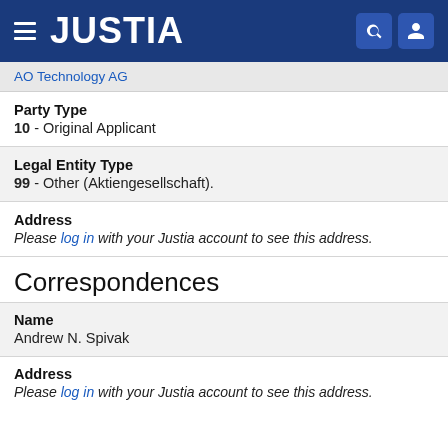JUSTIA
AO Technology AG
Party Type
10 - Original Applicant
Legal Entity Type
99 - Other (Aktiengesellschaft).
Address
Please log in with your Justia account to see this address.
Correspondences
Name
Andrew N. Spivak
Address
Please log in with your Justia account to see this address.